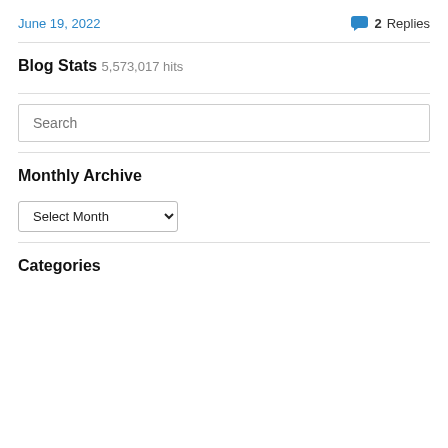June 19, 2022
2 Replies
Blog Stats
5,573,017 hits
Search
Monthly Archive
Select Month
Categories